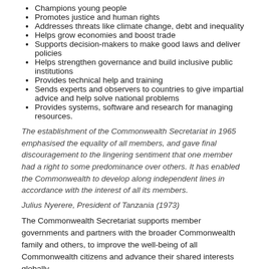Champions young people
Promotes justice and human rights
Addresses threats like climate change, debt and inequality
Helps grow economies and boost trade
Supports decision-makers to make good laws and deliver policies
Helps strengthen governance and build inclusive public institutions
Provides technical help and training
Sends experts and observers to countries to give impartial advice and help solve national problems
Provides systems, software and research for managing resources.
The establishment of the Commonwealth Secretariat in 1965 emphasised the equality of all members, and gave final discouragement to the lingering sentiment that one member had a right to some predominance over others. It has enabled the Commonwealth to develop along independent lines in accordance with the interest of all its members.
Julius Nyerere, President of Tanzania (1973)
The Commonwealth Secretariat supports member governments and partners with the broader Commonwealth family and others, to improve the well-being of all Commonwealth citizens and advance their shared interests globally.
Posted in News |